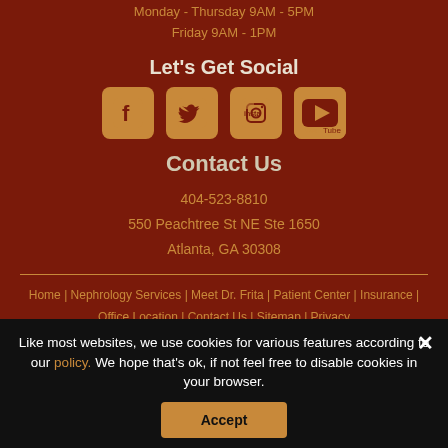Monday - Thursday 9AM - 5PM
Friday 9AM - 1PM
Let's Get Social
[Figure (infographic): Social media icons: Facebook, Twitter, Instagram, YouTube]
Contact Us
404-523-8810
550 Peachtree St NE Ste 1650
Atlanta, GA 30308
Home | Nephrology Services | Meet Dr. Frita | Patient Center | Insurance | Office Location | Contact Us | Sitemap | Privacy
Like most websites, we use cookies for various features according to our policy. We hope that's ok, if not feel free to disable cookies in your browser.